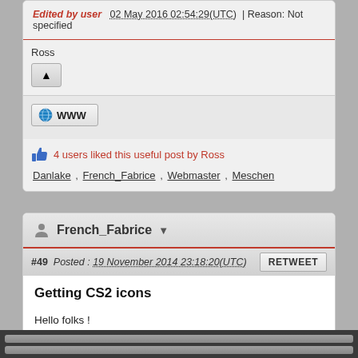Edited by user  02 May 2016 02:54:29(UTC)  | Reason: Not specified
Ross
WWW
4 users liked this useful post by Ross
Danlake , French_Fabrice , Webmaster , Meschen
French_Fabrice
#49  Posted : 19 November 2014 23:18:20(UTC)
Getting CS2 icons
Hello folks !

A few software allow to put some icons on various buttons/frames.
For instance, Rocrail allows to put icons on function buttons related to locos.